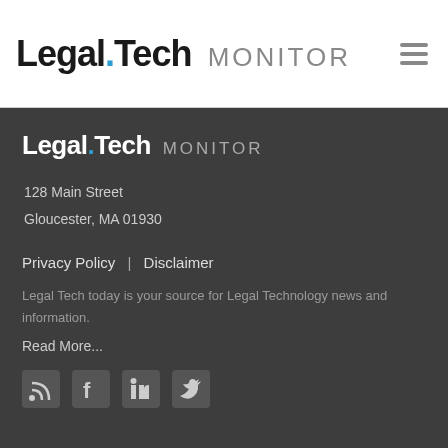Legal.Tech MONITOR
[Figure (logo): Legal.Tech Monitor logo in footer with blue dot]
128 Main Street
Gloucester, MA 01930
Privacy Policy  |  Disclaimer
Legal Tech today is your source for Legal Technology news and information.
Read More...
[Figure (illustration): Social media icons: RSS feed, Facebook, LinkedIn, Twitter]